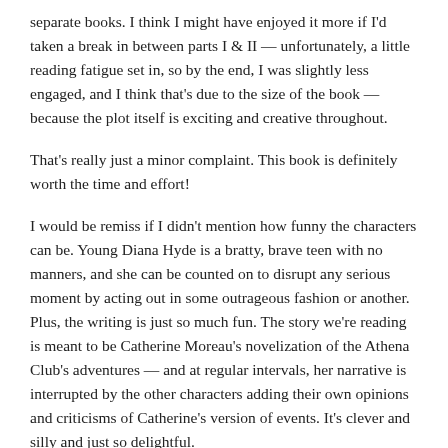separate books. I think I might have enjoyed it more if I'd taken a break in between parts I & II — unfortunately, a little reading fatigue set in, so by the end, I was slightly less engaged, and I think that's due to the size of the book — because the plot itself is exciting and creative throughout.
That's really just a minor complaint. This book is definitely worth the time and effort!
I would be remiss if I didn't mention how funny the characters can be. Young Diana Hyde is a bratty, brave teen with no manners, and she can be counted on to disrupt any serious moment by acting out in some outrageous fashion or another. Plus, the writing is just so much fun. The story we're reading is meant to be Catherine Moreau's novelization of the Athena Club's adventures — and at regular intervals, her narrative is interrupted by the other characters adding their own opinions and criticisms of Catherine's version of events. It's clever and silly and just so delightful.
A concluding thought is due, I know, but my preference for With…